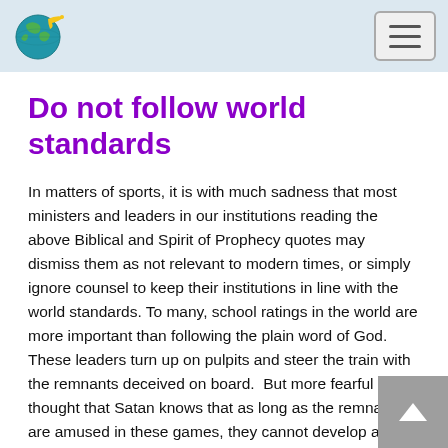Worship Moment (logo) | Navigation menu
Do not follow world standards
In matters of sports, it is with much sadness that most ministers and leaders in our institutions reading the above Biblical and Spirit of Prophecy quotes may dismiss them as not relevant to modern times, or simply ignore counsel to keep their institutions in line with the world standards. To many, school ratings in the world are more important than following the plain word of God.  These leaders turn up on pulpits and steer the train with the remnants deceived on board.  But more fearful is the thought that Satan knows that as long as the remnants are amused in these games, they cannot develop a perfect heavenly character, they will not be sealed, they will end up worshiping the beast and eventually Satan will claim victory over them in the great controversy.